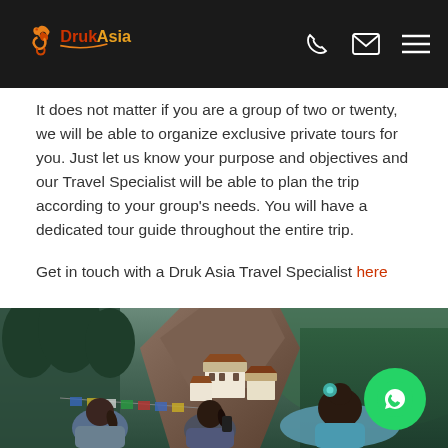Druk Asia [logo + phone + email + menu icons]
It does not matter if you are a group of two or twenty, we will be able to organize exclusive private tours for you. Just let us know your purpose and objectives and our Travel Specialist will be able to plan the trip according to your group's needs. You will have a dedicated tour guide throughout the entire trip.

Get in touch with a Druk Asia Travel Specialist here
[Figure (photo): Three women viewed from behind looking at Tiger's Nest monastery (Paro Taktsang) in Bhutan, clinging to a cliff face above a forested valley, with colorful prayer flags in the foreground.]